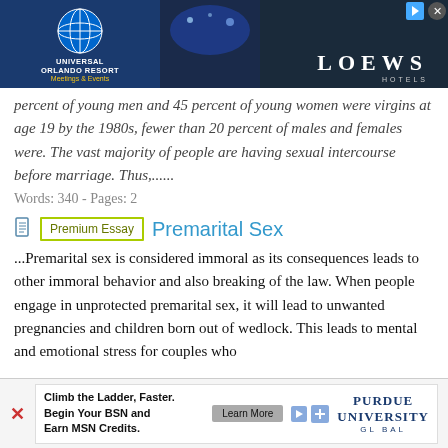[Figure (other): Universal Orlando Resort Meetings & Events advertisement banner at top of page]
percent of young men and 45 percent of young women were virgins at age 19 by the 1980s, fewer than 20 percent of males and females were. The vast majority of people are having sexual intercourse before marriage. Thus,......
Words: 340 - Pages: 2
Premarital Sex
...Premarital sex is considered immoral as its consequences leads to other immoral behavior and also breaking of the law. When people engage in unprotected premarital sex, it will lead to unwanted pregnancies and children born out of wedlock. This leads to mental and emotional stress for couples who
[Figure (other): Purdue University Global advertisement banner at bottom of page]